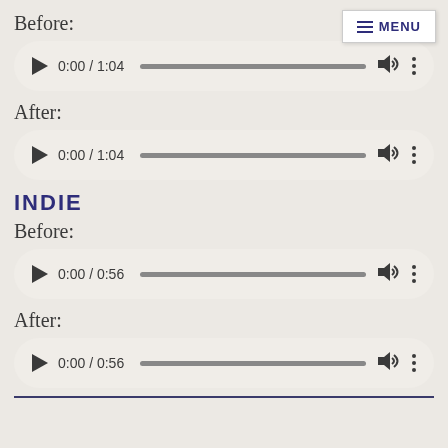Before:
[Figure (other): Audio player showing 0:00 / 1:04 with progress bar, volume and options icons]
After:
[Figure (other): Audio player showing 0:00 / 1:04 with progress bar, volume and options icons]
INDIE
Before:
[Figure (other): Audio player showing 0:00 / 0:56 with progress bar, volume and options icons]
After:
[Figure (other): Audio player showing 0:00 / 0:56 with progress bar, volume and options icons]